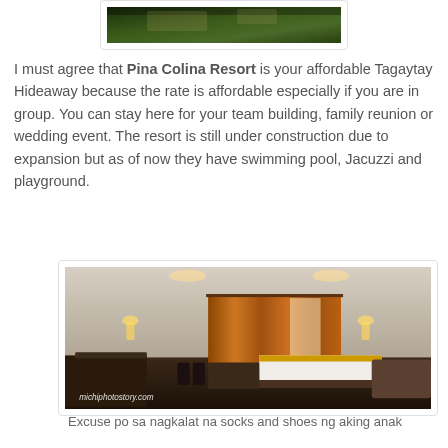[Figure (photo): Top portion of an outdoor photo at Pina Colina Resort, partially cropped]
I must agree that Pina Colina Resort is your affordable Tagaytay Hideaway because the rate is affordable especially if you are in group. You can stay here for your team building, family reunion or wedding event. The resort is still under construction due to expansion but as of now they have swimming pool, Jacuzzi and playground.
[Figure (photo): Interior of a resort room showing a bed with orange curtains, dark wood furniture, speakers, and a table. Watermark reads michiphotostory.com]
Excuse po sa nagkalat na socks and shoes ng aking anak